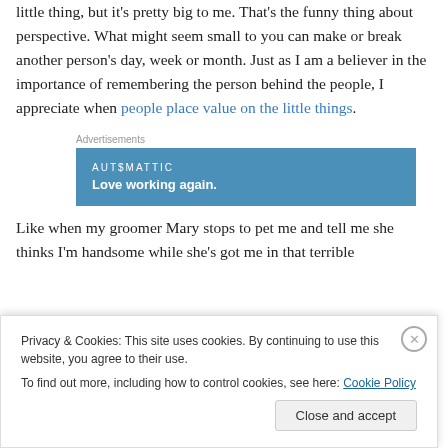little thing, but it's pretty big to me. That's the funny thing about perspective. What might seem small to you can make or break another person's day, week or month. Just as I am a believer in the importance of remembering the person behind the people, I appreciate when people place value on the little things.
[Figure (other): Automattic advertisement banner with text 'AUTOMATTIC' and 'Love working again.' on a blue background]
Like when my groomer Mary stops to pet me and tell me she thinks I'm handsome while she's got me in that terrible
Privacy & Cookies: This site uses cookies. By continuing to use this website, you agree to their use. To find out more, including how to control cookies, see here: Cookie Policy